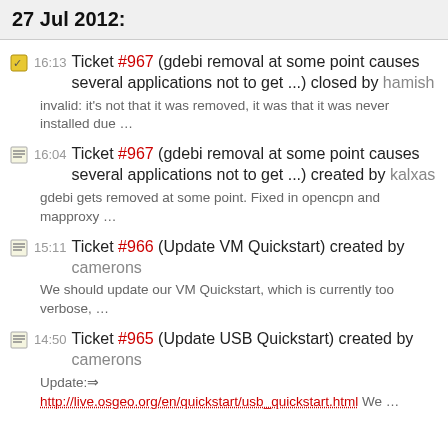27 Jul 2012:
16:13 Ticket #967 (gdebi removal at some point causes several applications not to get ...) closed by hamish
invalid: it's not that it was removed, it was that it was never installed due …
16:04 Ticket #967 (gdebi removal at some point causes several applications not to get ...) created by kalxas
gdebi gets removed at some point. Fixed in opencpn and mapproxy …
15:11 Ticket #966 (Update VM Quickstart) created by camerons
We should update our VM Quickstart, which is currently too verbose, …
14:50 Ticket #965 (Update USB Quickstart) created by camerons
Update: http://live.osgeo.org/en/quickstart/usb_quickstart.html We …